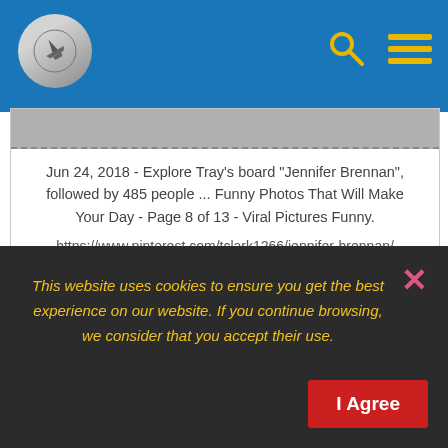Header bar with airplane logo, search icon, and menu icon
Jun 24, 2018 - Explore Tray's board "Jennifer Brennan", followed by 485 people ... Funny Photos That Will Make Your Day - Page 8 of 13 - Viral Pictures Funny.
https://www.pinterest.com/tclark1266/jennifer-brennan/
SHOW ME 👁
This website uses cookies to ensure you get the best experience on our website. If you continue browsing, we consider that you accept their use.
I Agree